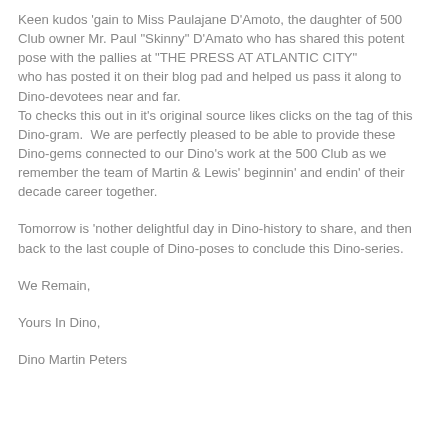Keen kudos 'gain to Miss Paulajane D'Amoto, the daughter of 500 Club owner Mr. Paul "Skinny" D'Amato who has shared this potent pose with the pallies at "THE PRESS AT ATLANTIC CITY"
who has posted it on their blog pad and helped us pass it along to Dino-devotees near and far.
To checks this out in it's original source likes clicks on the tag of this Dino-gram.  We are perfectly pleased to be able to provide these Dino-gems connected to our Dino's work at the 500 Club as we remember the team of Martin & Lewis' beginnin' and endin' of their decade career together.
Tomorrow is 'nother delightful day in Dino-history to share, and then back to the last couple of Dino-poses to conclude this Dino-series.
We Remain,
Yours In Dino,
Dino Martin Peters